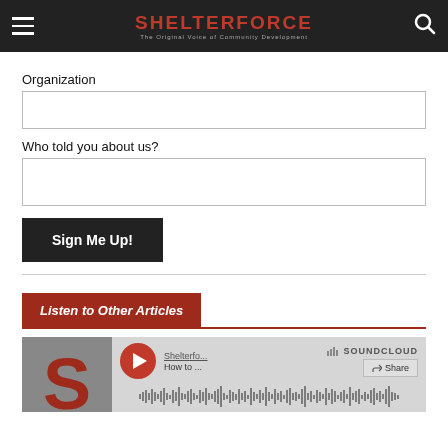SHELTERFORCE — The Original Voice of Community Development
Organization
Who told you about us?
Sign Me Up!
Listen to Other Articles
[Figure (screenshot): SoundCloud embed player showing Shelterforce audio with play button, channel name 'Shelterfo...', title 'How to ...', SoundCloud logo, Share button, and audio waveform visualization]